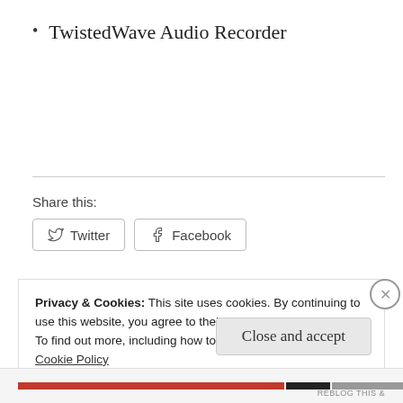TwistedWave Audio Recorder
Share this:
Twitter   Facebook
Privacy & Cookies: This site uses cookies. By continuing to use this website, you agree to their use.
To find out more, including how to control cookies, see here:
Cookie Policy
Close and accept